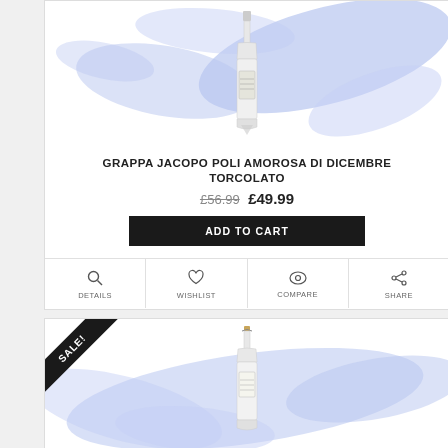[Figure (photo): Grappa bottle on blue brushstroke background]
GRAPPA JACOPO POLI AMOROSA DI DICEMBRE TORCOLATO
£56.99 £49.99
ADD TO CART
DETAILS  WISHLIST  COMPARE  SHARE
[Figure (photo): Second product bottle with SALE! badge on blue brushstroke background]